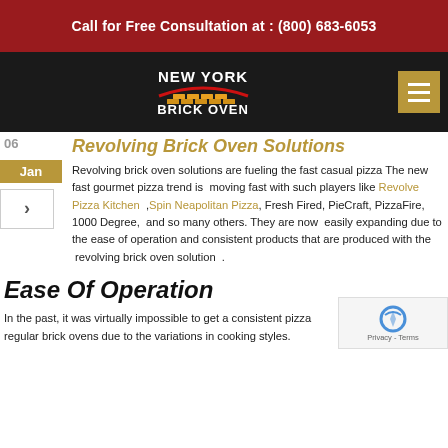Call for Free Consultation at : (800) 683-6053
[Figure (logo): New York Brick Oven logo with brick graphic and red arch on black background]
Revolving Brick Oven Solutions
06 Jan
Revolving brick oven solutions are fueling the fast casual pizza The new fast gourmet pizza trend is moving fast with such players like Revolve Pizza Kitchen ,Spin Neapolitan Pizza, Fresh Fired, PieCraft, PizzaFire, 1000 Degree, and so many others. They are now easily expanding due to the ease of operation and consistent products that are produced with the revolving brick oven solution .
Ease Of Operation
In the past, it was virtually impossible to get a consistent pizza regular brick ovens due to the variations in cooking styles.